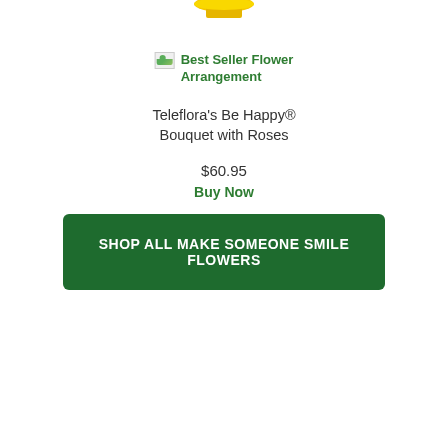[Figure (photo): Partial product image visible at the top of the page, showing the bottom of a yellow/gold flower arrangement container]
[Figure (photo): Broken image placeholder icon labeled 'Best Seller Flower Arrangement']
Best Seller Flower Arrangement
Teleflora's Be Happy® Bouquet with Roses
$60.95
Buy Now
SHOP ALL MAKE SOMEONE SMILE FLOWERS